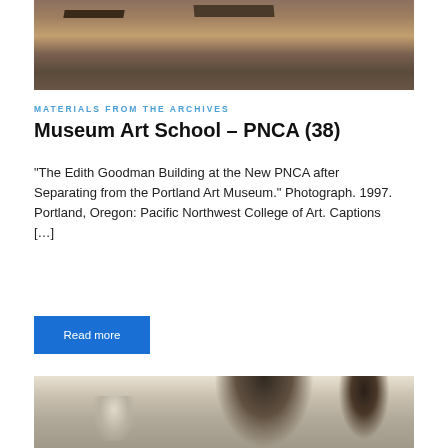[Figure (photo): Aerial or ground-level photograph of a construction site, showing excavated earth and building foundations, taken at PNCA / Edith Goodman Building area, 1997]
MATERIALS FROM THE ARCHIVES
Museum Art School – PNCA (38)
“The Edith Goodman Building at the New PNCA after Separating from the Portland Art Museum.” Photograph. 1997. Portland, Oregon: Pacific Northwest College of Art. Captions […]
Read more
[Figure (photo): Black and white photograph of art students, with a person appearing to instruct or demonstrate near an easel, other students visible including a woman with gray/white hair]